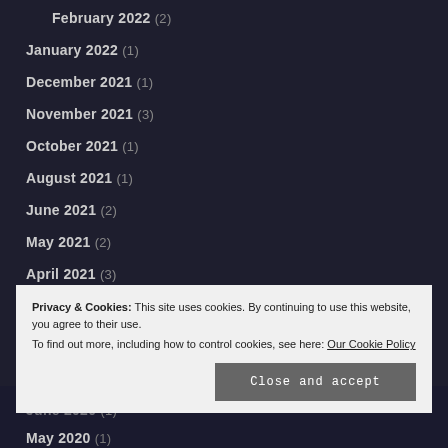February 2022 (2)
January 2022 (1)
December 2021 (1)
November 2021 (3)
October 2021 (1)
August 2021 (1)
June 2021 (2)
May 2021 (2)
April 2021 (3)
March 2021 (3)
February 2021 (2)
January 2021 (2)
Privacy & Cookies: This site uses cookies. By continuing to use this website, you agree to their use. To find out more, including how to control cookies, see here: Our Cookie Policy
June 2020 (1)
May 2020 (1)